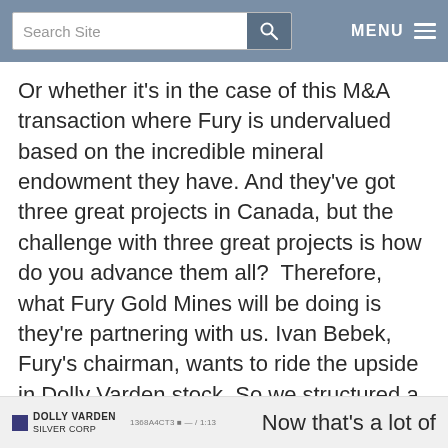Search Site | MENU
Or whether it's in the case of this M&A transaction where Fury is undervalued based on the incredible mineral endowment they have. And they've got three great projects in Canada, but the challenge with three great projects is how do you advance them all?  Therefore, what Fury Gold Mines will be doing is they're partnering with us. Ivan Bebek, Fury's chairman, wants to ride the upside in Dolly Varden stock. So we structured a deal where we allowed him to ride the upside by becoming a 37% shareholder.
Dolly Varden Silver Corp | Now that's a lot of